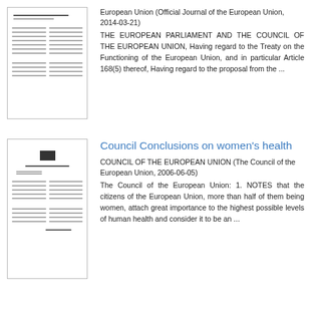[Figure (illustration): Thumbnail image of a document page showing text columns and tables]
European Union (Official Journal of the European Union, 2014-03-21)
THE EUROPEAN PARLIAMENT AND THE COUNCIL OF THE EUROPEAN UNION, Having regard to the Treaty on the Functioning of the European Union, and in particular Article 168(5) thereof, Having regard to the proposal from the ...
[Figure (illustration): Thumbnail image of a Council document with header and text]
Council Conclusions on women's health
COUNCIL OF THE EUROPEAN UNION (The Council of the European Union, 2006-06-05)
The Council of the European Union: 1. NOTES that the citizens of the European Union, more than half of them being women, attach great importance to the highest possible levels of human health and consider it to be an ...